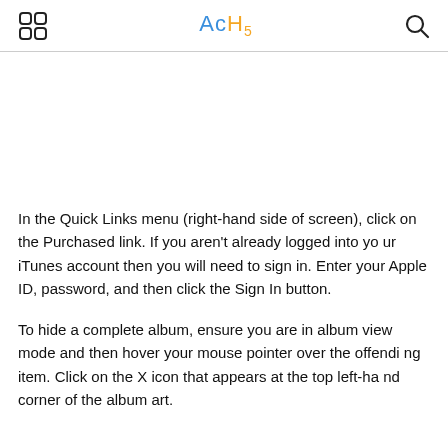AcHs
In the Quick Links menu (right-hand side of screen), click on the Purchased link. If you aren't already logged into your iTunes account then you will need to sign in. Enter your Apple ID, password, and then click the Sign In button.
To hide a complete album, ensure you are in album view mode and then hover your mouse pointer over the offending item. Click on the X icon that appears at the top left-hand corner of the album art.